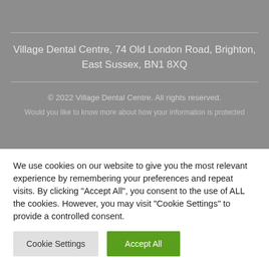Village Dental Centre, 74 Old London Road, Brighton, East Sussex, BN1 8XQ
© 2022 Village Dental Centre. All rights reserved.
Would you like to know more about how your information is protected
We use cookies on our website to give you the most relevant experience by remembering your preferences and repeat visits. By clicking "Accept All", you consent to the use of ALL the cookies. However, you may visit "Cookie Settings" to provide a controlled consent.
Cookie Settings
Accept All